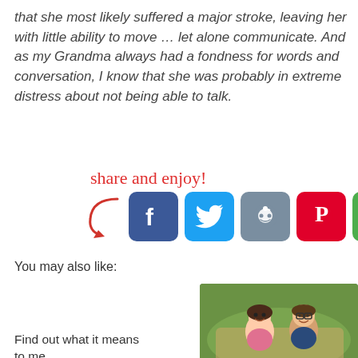that she most likely suffered a major stroke, leaving her with little ability to move … let alone communicate. And as my Grandma always had a fondness for words and conversation, I know that she was probably in extreme distress about not being able to talk.
[Figure (infographic): Share and enjoy! text with a red arrow pointing to a row of social media icon buttons: Facebook, Twitter, Reddit, Pinterest, and a green share/camera button.]
You may also like:
Find out what it means to me …
[Figure (photo): Animated characters lying on grass — a girl and a boy with glasses, from a movie, smiling.]
XX's and OO's needed